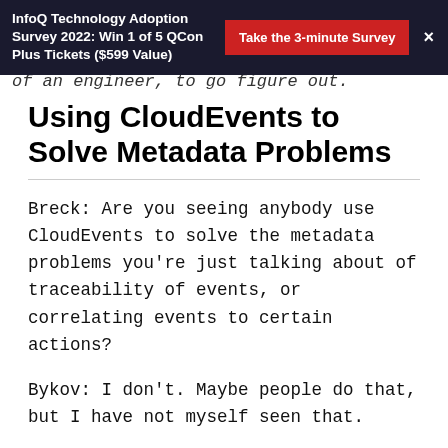InfoQ Technology Adoption Survey 2022: Win 1 of 5 QCon Plus Tickets ($599 Value)   Take the 3-minute Survey   ×
of an engineer, to go figure out.
Using CloudEvents to Solve Metadata Problems
Breck: Are you seeing anybody use CloudEvents to solve the metadata problems you're just talking about of traceability of events, or correlating events to certain actions?
Bykov: I don't. Maybe people do that, but I have not myself seen that.
Roestenburg: Yes, we are using CloudEvents in Akka serverless, for instance, and there is some additional information that we keep, but it's not